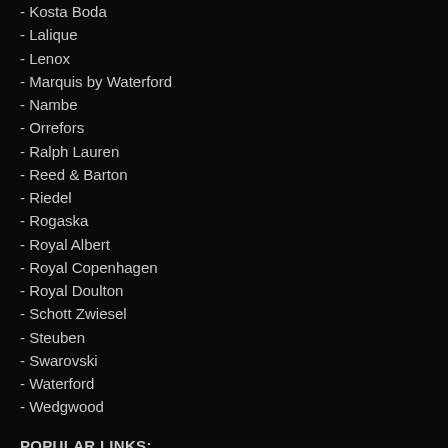- Kosta Boda
- Lalique
- Lenox
- Marquis by Waterford
- Nambe
- Orrefors
- Ralph Lauren
- Reed & Barton
- Riedel
- Rogaska
- Royal Albert
- Royal Copenhagen
- Royal Doulton
- Schott Zwiesel
- Steuben
- Swarovski
- Waterford
- Wedgwood
POPULAR LINKS:
- Most Popular
- Sale & Specials
- Clearance
- Awards & Incentives
- Barware
- Business Gifts
- Christmas